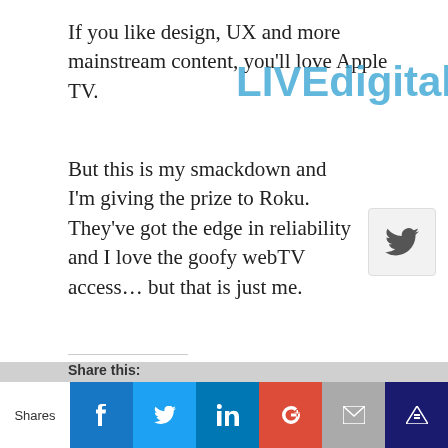If you like design, UX and more mainstream content, you'll love Apple TV.
[Figure (other): LIVEdigitally watermark text overlaid on the article content]
But this is my smackdown and I'm giving the prize to Roku. They've got the edge in reliability and I love the goofy webTV access… but that is just me.
[Figure (other): Twitter bird icon button overlay]
Share this:
Email
Facebook
LinkedIn
Twitter
Reddit
Related
Rooting for Roku
September 23, 2010
In "Gadgets"
Why the Mac Mini is not, at all, an Apple TV
June 16, 2010
In "Convergence"
Shares | Facebook | Twitter | LinkedIn | Google+ | Email | Crown